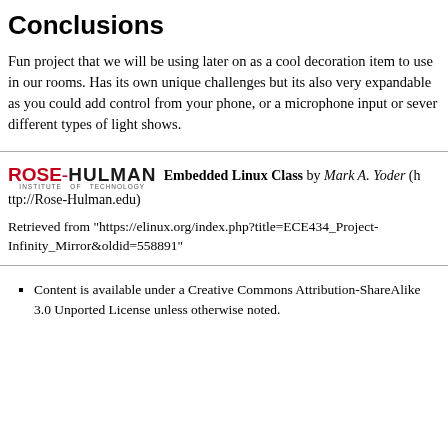Conclusions
Fun project that we will be using later on as a cool decoration item to use in our rooms. Has its own unique challenges but its also very expandable as you could add control from your phone, or a microphone input or sever different types of light shows.
ROSE-HULMAN INSTITUTE OF TECHNOLOGY Embedded Linux Class by Mark A. Yoder (http://Rose-Hulman.edu)
Retrieved from "https://elinux.org/index.php?title=ECE434_Project-Infinity_Mirror&oldid=558891"
Content is available under a Creative Commons Attribution-ShareAlike 3.0 Unported License unless otherwise noted.